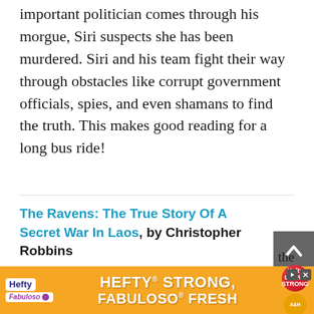important politician comes through his morgue, Siri suspects she has been murdered. Siri and his team fight their way through obstacles like corrupt government officials, spies, and even shamans to find the truth. This makes good reading for a long bus ride!
The Ravens: The True Story Of A Secret War In Laos, by Christopher Robbins
The Vietnam War in Laos did not officially exist...or at the
[Figure (other): Scroll-to-top button: dark grey square button with white upward chevron arrow]
[Figure (other): Advertisement banner for Hefty STRONG, Fabuloso FRESH household products on orange background]